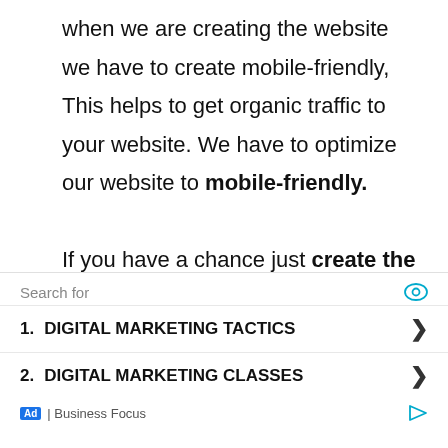when we are creating the website we have to create mobile-friendly, This helps to get organic traffic to your website. We have to optimize our website to mobile-friendly. If you have a chance just create the mobile application.
[Figure (other): Advertisement box with 'Search for' label, eye icon, two search result items (1. DIGITAL MARKETING TACTICS, 2. DIGITAL MARKETING CLASSES) with chevron arrows, and footer showing Ad | Business Focus label with play icon.]